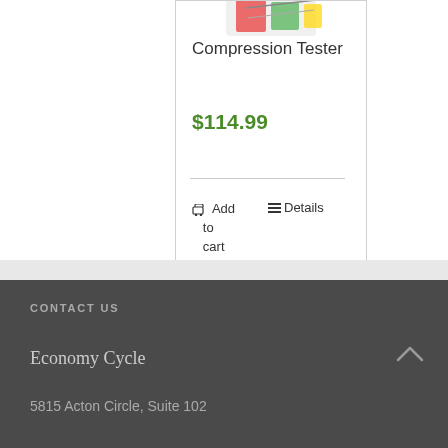[Figure (photo): Partial top of a compression tester tool product image]
Compression Tester
$114.99
Add to cart
Details
CONTACT US
Economy Cycle
5815 Acton Circle, Suite 102